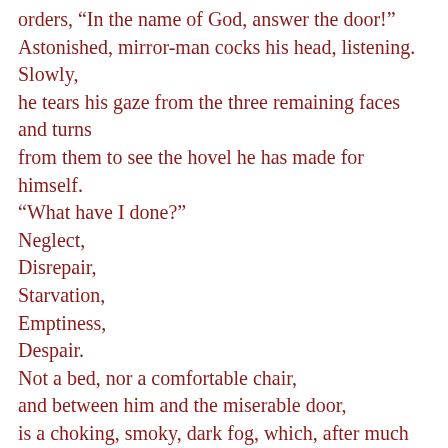orders, “In the name of God, answer the door!” Astonished, mirror-man cocks his head, listening. Slowly, he tears his gaze from the three remaining faces and turns from them to see the hovel he has made for himself. “What have I done?” Neglect, Disrepair, Starvation, Emptiness, Despair. Not a bed, nor a comfortable chair, and between him and the miserable door, is a choking, smoky, dark fog, which, after much flailing and batting with his hands, finally moves behind him. It is as though the darkness is actively trying to keep him from the door, yet the thought of getting something for himself is driving something inside him. The light is approaching his